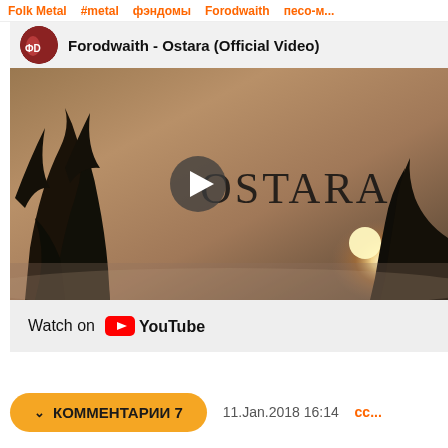Folk Metal   #metal   фэндомы   Forodwaith   песо-м...
[Figure (screenshot): YouTube video embed showing Forodwaith - Ostara (Official Video). The video thumbnail shows a moody landscape at dawn/dusk with silhouetted trees and a glowing sun. The text OSTARA appears in the center-right of the image. A play button is visible in the center. The video bar shows 'Watch on YouTube' at the bottom. Channel avatar is shown top-left next to the video title.]
КОММЕНТАРИИ 7
11.Jan.2018 16:14   ссы...